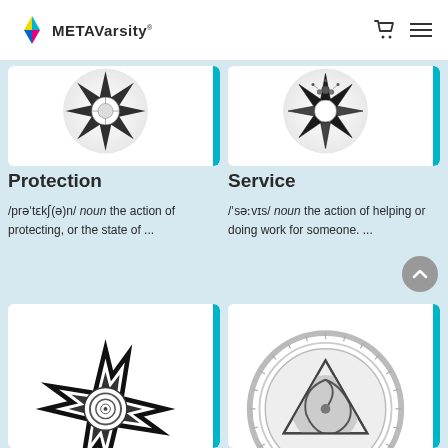METAVarsity
[Figure (illustration): Black and white star-shaped mandala with floral center, on white circular background with teal bar on right]
[Figure (illustration): Black and white star-shaped mandala with bulb/flower center, on white circular background with teal bar on right]
Protection
Service
/prəˈtɛkʃ(ə)n/ noun the action of protecting, or the state of ...
/ˈsəːvɪs/ noun the action of helping or doing work for someone. ...
[Figure (illustration): Black and white eight-pointed star mandala with spiral center]
[Figure (illustration): Black and white circular mandala with triangle and yin-yang spiral center]